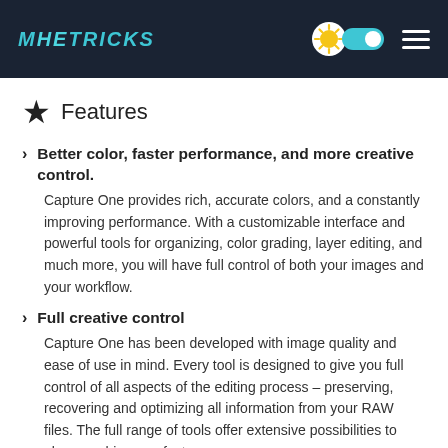MHETRICKS
Features
Better color, faster performance, and more creative control. Capture One provides rich, accurate colors, and a constantly improving performance. With a customizable interface and powerful tools for organizing, color grading, layer editing, and much more, you will have full control of both your images and your workflow.
Full creative control Capture One has been developed with image quality and ease of use in mind. Every tool is designed to give you full control of all aspects of the editing process – preserving, recovering and optimizing all information from your RAW files. The full range of tools offer extensive possibilities to always achieve perfect